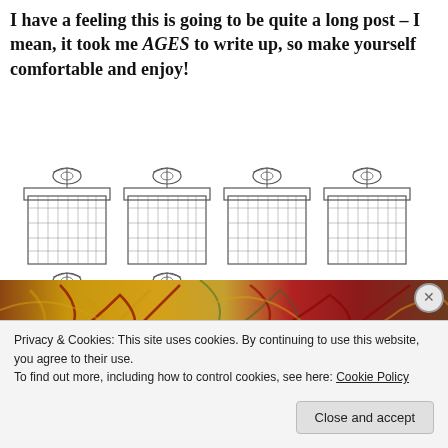I have a feeling this is going to be quite a long post – I mean, it took me AGES to write up, so make yourself comfortable and enjoy!
[Figure (illustration): Six gift boxes arranged in two rows: top row has four wrapped gift boxes with bows, bottom row has two wrapped gift boxes with bows]
[Figure (photo): Decorative marbled paper with swirling red, green and gold pattern]
Privacy & Cookies: This site uses cookies. By continuing to use this website, you agree to their use.
To find out more, including how to control cookies, see here: Cookie Policy
Close and accept